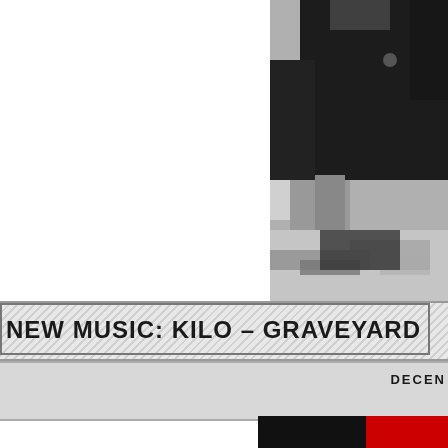[Figure (photo): Black and white photo of a person in dark jacket, cropped to show torso and hands, with scattered items on the floor below]
NEW MUSIC: KILO – GRAVEYARD
DECEN
[Figure (photo): Partial view of a second article image showing black and red sections at the bottom of the page]